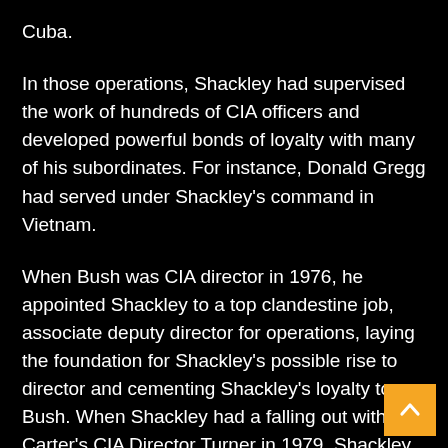Cuba.
In those operations, Shackley had supervised the work of hundreds of CIA officers and developed powerful bonds of loyalty with many of his subordinates. For instance, Donald Gregg had served under Shackley's command in Vietnam.
When Bush was CIA director in 1976, he appointed Shackley to a top clandestine job, associate deputy director for operations, laying the foundation for Shackley's possible rise to director and cementing Shackley's loyalty to Bush. When Shackley had a falling out with Carter's CIA Director Turner in 1979, Shackley quit the agency.